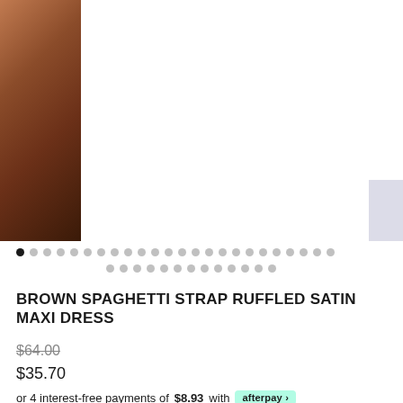[Figure (photo): Product photo of a brown spaghetti strap ruffled satin maxi dress. Left portion shows close-up of dress fabric in brown/copper tones. Center is white background. Right edge shows thumbnail navigation area.]
Image carousel navigation dots - one active dark dot followed by multiple grey dots in two rows
BROWN SPAGHETTI STRAP RUFFLED SATIN MAXI DRESS
$64.00 (strikethrough original price)
$35.70
or 4 interest-free payments of $8.93 with afterpay